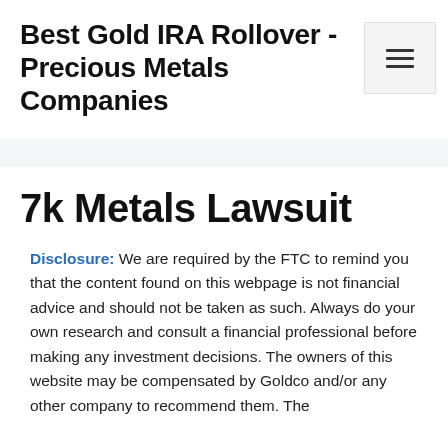Best Gold IRA Rollover - Precious Metals Companies
7k Metals Lawsuit
Disclosure: We are required by the FTC to remind you that the content found on this webpage is not financial advice and should not be taken as such. Always do your own research and consult a financial professional before making any investment decisions. The owners of this website may be compensated by Goldco and/or any other company to recommend them. The